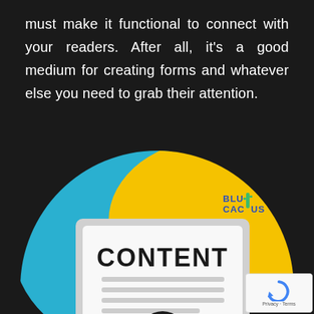must make it functional to connect with your readers. After all, it’s a good medium for creating forms and whatever else you need to grab their attention.
[Figure (illustration): A circular illustration showing a tablet/clipboard displaying the word CONTENT with placeholder text lines and a scales of justice icon, set against blue and yellow background shapes, with the BluCactus logo visible in the upper right. A reCAPTCHA privacy widget appears in the bottom right corner.]